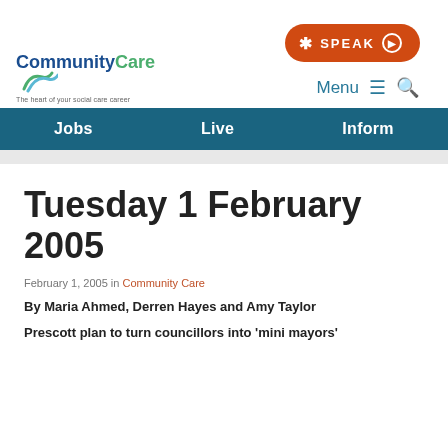[Figure (logo): Community Care logo with wave graphic and tagline 'The heart of your social care career']
Menu ≡ 🔍
SPEAK ▶
Jobs   Live   Inform
Tuesday 1 February 2005
February 1, 2005 in Community Care
By Maria Ahmed, Derren Hayes and Amy Taylor
Prescott plan to turn councillors into 'mini mayors'